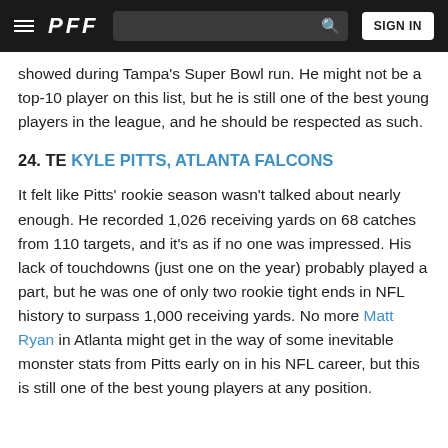PFF — Navigation bar with hamburger menu, search, and SIGN IN button
showed during Tampa's Super Bowl run. He might not be a top-10 player on this list, but he is still one of the best young players in the league, and he should be respected as such.
24. TE KYLE PITTS, ATLANTA FALCONS
It felt like Pitts' rookie season wasn't talked about nearly enough. He recorded 1,026 receiving yards on 68 catches from 110 targets, and it's as if no one was impressed. His lack of touchdowns (just one on the year) probably played a part, but he was one of only two rookie tight ends in NFL history to surpass 1,000 receiving yards. No more Matt Ryan in Atlanta might get in the way of some inevitable monster stats from Pitts early on in his NFL career, but this is still one of the best young players at any position.